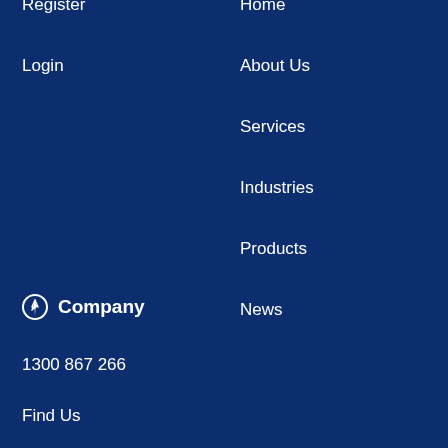Register
Login
Home
About Us
Services
Industries
Products
News
Company
1300 867 266
Find Us
Email Us
Search